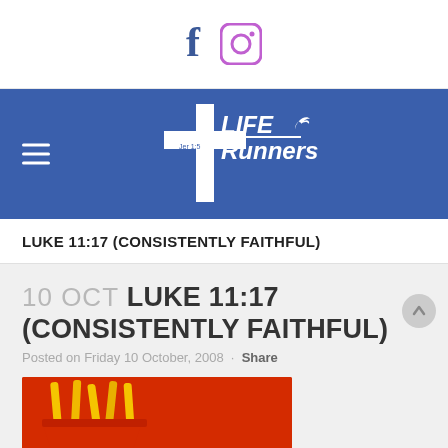Facebook and Instagram social media icons
[Figure (logo): LIFE Runners logo with cross and dove on blue banner, with hamburger menu icon on left]
LUKE 11:17 (CONSISTENTLY FAITHFUL)
10 OCT LUKE 11:17 (CONSISTENTLY FAITHFUL)
Posted on Friday 10 October, 2008 · Share
[Figure (photo): McDonald's french fries and food on red tray background]